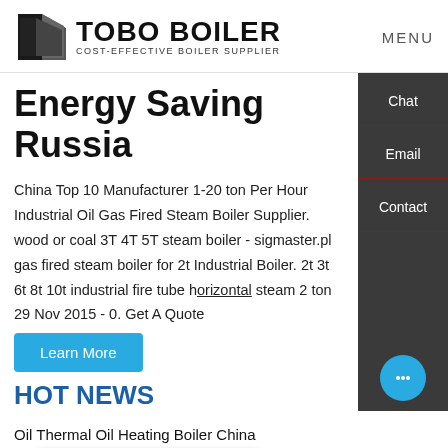TOBO BOILER — COST-EFFECTIVE BOILER SUPPLIER | MENU
Energy Saving Russia
China Top 10 Manufacturer 1-20 ton Per Hour Industrial Oil Gas Fired Steam Boiler Supplier. wood or coal 3T 4T 5T steam boiler - sigmaster.pl gas fired steam boiler for 2t Industrial Boiler. 2t 3t 6t 8t 10t industrial fire tube horizontal steam 2 ton 29 Nov 2015 - 0. Get A Quote
HOT NEWS
Oil Thermal Oil Heating Boiler China
Fire Tube Boiler Portion